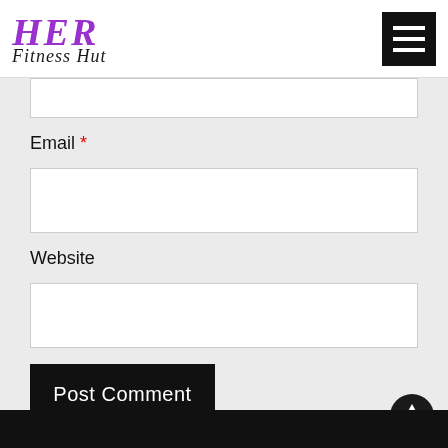[Figure (logo): HER Fitness Hut logo with purple italic HER text and black italic Fitness Hut text below]
[Figure (other): Hamburger menu icon — three white horizontal lines on black square background]
Email *
[Figure (screenshot): Empty email input field (white rectangle with border)]
Website
[Figure (screenshot): Empty website input field (white rectangle with border)]
[Figure (other): Post Comment button — black rectangle with white text]
[Figure (other): Back to top arrow button — dark circle with white upward arrow]